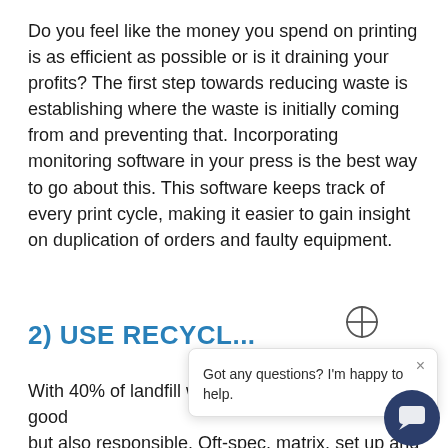Do you feel like the money you spend on printing is as efficient as possible or is it draining your profits? The first step towards reducing waste is establishing where the waste is initially coming from and preventing that. Incorporating monitoring software in your press is the best way to go about this. This software keeps track of every print cycle, making it easier to gain insight on duplication of orders and faulty equipment.
2) USE RECYCL...
With 40% of landfill was... important to be a good ... but also responsible. Oft-spec, matrix, set up and make ready are just some of the plastic-based waste produced by label printers, contributing to the a... 180,000 tonnes of label waste in landfills across the UK. Then...
[Figure (other): Chat widget popup with crosshair icon, close button (×), and message 'Got any questions? I'm happy to help.' plus a dark circular chat bubble button with speech icon.]